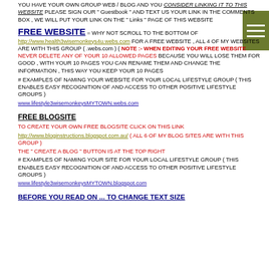YOU HAVE YOUR OWN GROUP WEB / BLOG AND YOU CONSIDER LINKING IT TO THIS WEBSITE PLEASE SIGN OUR " Guestbook " AND TEXT US YOUR LINK IN THE COMMENTS BOX , WE WILL PUT YOUR LINK ON THE " Links " PAGE OF THIS WEBSITE
FREE WEBSITE = WHY NOT SCROLL TO THE BOTTOM OF http://www.health3wisemonkeys4u.webs.com FOR A FREE WEBSITE , ALL 4 OF MY WEBSITES ARE WITH THIS GROUP ( .webs.com ) ( NOTE :- WHEN EDITING YOUR FREE WEBSITE NEVER DELETE ANY OF YOUR 10 ALLOWED PAGES BECAUSE YOU WILL LOSE THEM FOR GOOD , WITH YOUR 10 PAGES YOU CAN RENAME THEM AND CHANGE THE INFORMATION , THIS WAY YOU KEEP YOUR 10 PAGES
# EXAMPLES OF NAMING YOUR WEBSITE FOR YOUR LOCAL LIFESTYLE GROUP ( THIS ENABLES EASY RECOGNITION OF AND ACCESS TO OTHER POSITIVE LIFESTYLE GROUPS )
www.lifestyle3wisemonkeysMYTOWN.webs.com
FREE BLOGSITE
TO CREATE YOUR OWN FREE BLOGSITE CLICK ON THIS LINK
http://www.bloginstructions.blogspot.com.au/ ( ALL 6 OF MY BLOG SITES ARE WITH THIS GROUP )
THE " CREATE A BLOG " BUTTON IS AT THE TOP RIGHT
# EXAMPLES OF NAMING YOUR SITE FOR YOUR LOCAL LIFESTYLE GROUP ( THIS ENABLES EASY RECOGNITION OF AND ACCESS TO OTHER POSITIVE LIFESTYLE GROUPS )
www.lifestyle3wisemonkeysMYTOWN.blogspot.com
BEFORE YOU READ ON ... TO CHANGE TEXT SIZE